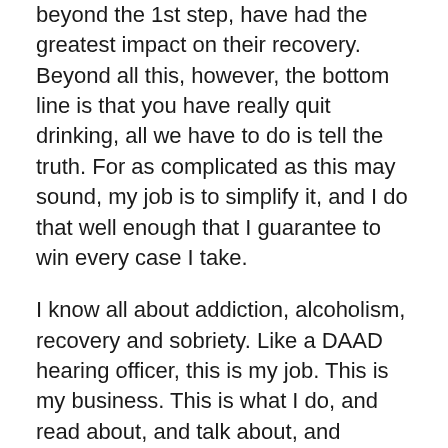beyond the 1st step, have had the greatest impact on their recovery. Beyond all this, however, the bottom line is that you have really quit drinking, all we have to do is tell the truth. For as complicated as this may sound, my job is to simplify it, and I do that well enough that I guarantee to win every case I take.
I know all about addiction, alcoholism, recovery and sobriety. Like a DAAD hearing officer, this is my job. This is my business. This is what I do, and read about, and talk about, and handle in court and in AHS hearings every day.
Years ago, I had a substance abuse counselor as my assistant. She not only guided my early